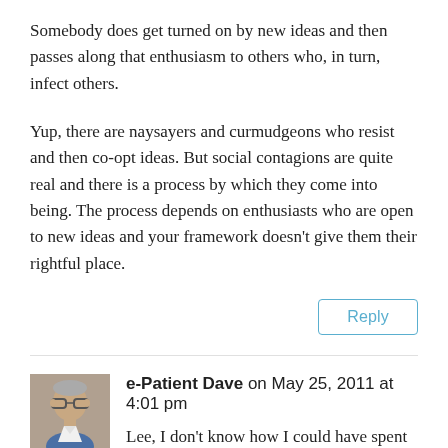Somebody does get turned on by new ideas and then passes along that enthusiasm to others who, in turn, infect others.
Yup, there are naysayers and curmudgeons who resist and then co-opt ideas. But social contagions are quite real and there is a process by which they come into being. The process depends on enthusiasts who are open to new ideas and your framework doesn't give them their rightful place.
Reply
e-Patient Dave on May 25, 2011 at 4:01 pm
Lee, I don't know how I could have spent a lifetime in high tech without ever hearing